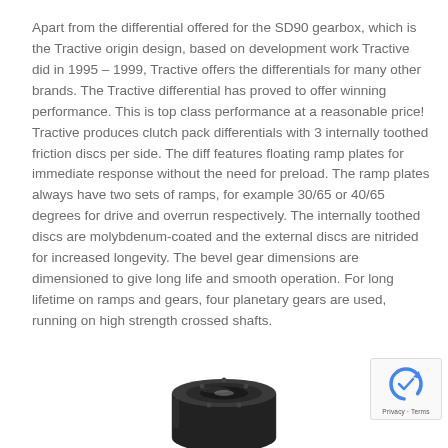Apart from the differential offered for the SD90 gearbox, which is the Tractive origin design, based on development work Tractive did in 1995 – 1999, Tractive offers the differentials for many other brands. The Tractive differential has proved to offer winning performance. This is top class performance at a reasonable price! Tractive produces clutch pack differentials with 3 internally toothed friction discs per side. The diff features floating ramp plates for immediate response without the need for preload. The ramp plates always have two sets of ramps, for example 30/65 or 40/65 degrees for drive and overrun respectively. The internally toothed discs are molybdenum-coated and the external discs are nitrided for increased longevity. The bevel gear dimensions are dimensioned to give long life and smooth operation. For long lifetime on ramps and gears, four planetary gears are used, running on high strength crossed shafts.
[Figure (photo): Bottom portion of a mechanical differential gear component shown from above, partially cropped at the bottom of the page. Circular metal housing visible.]